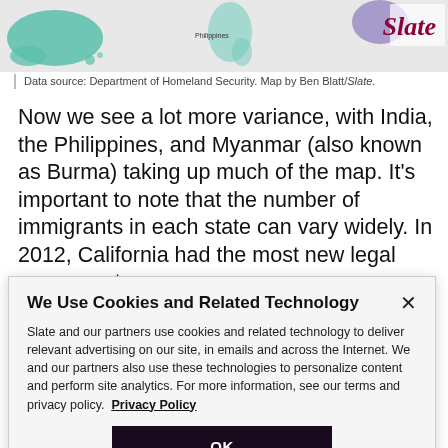[Figure (map): Partial map showing regions including Alaska and Philippines label, with colored regions in teal/green and purple tones, cropped at top of page]
Data source: Department of Homeland Security. Map by Ben Blatt/Slate.
Now we see a lot more variance, with India, the Philippines, and Myanmar (also known as Burma) taking up much of the map. It’s important to note that the number of immigrants in each state can vary widely. In 2012, California had the most new legal permanent
We Use Cookies and Related Technology
Slate and our partners use cookies and related technology to deliver relevant advertising on our site, in emails and across the Internet. We and our partners also use these technologies to personalize content and perform site analytics. For more information, see our terms and privacy policy.  Privacy Policy
OK